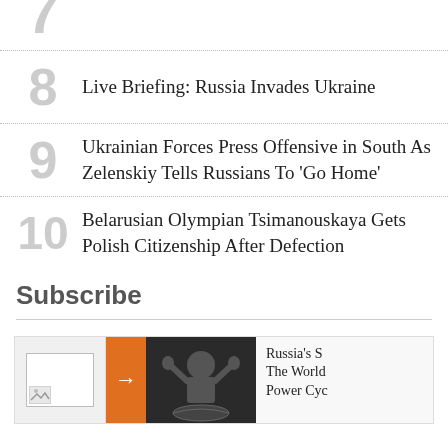7
8 Live Briefing: Russia Invades Ukraine
9 Ukrainian Forces Press Offensive in South As Zelenskiy Tells Russians To 'Go Home'
10 Belarusian Olympian Tsimanouskaya Gets Polish Citizenship After Defection
Subscribe
[Figure (photo): Promo card with arrow button and dark photo showing a person with hands raised, partially visible text: Russia's S... The World... Power Cyc...]